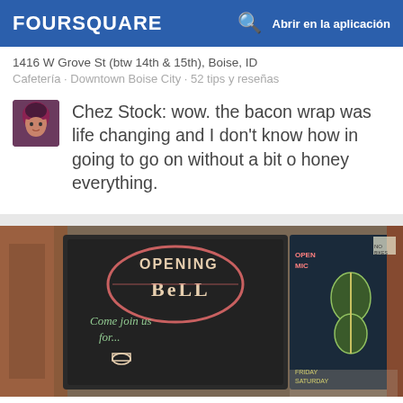FOURSQUARE  Abrir en la aplicación
1416 W Grove St (btw 14th & 15th), Boise, ID
Cafetería · Downtown Boise City · 52 tips y reseñas
Chez Stock: wow. the bacon wrap was life changing and I don't know how in going to go on without a bit o honey everything.
[Figure (photo): Photo of chalkboard signs for 'Opening Bell' coffee shop with text 'Come join us for...' and a guitar drawing]
11. Opening Bell Coffee